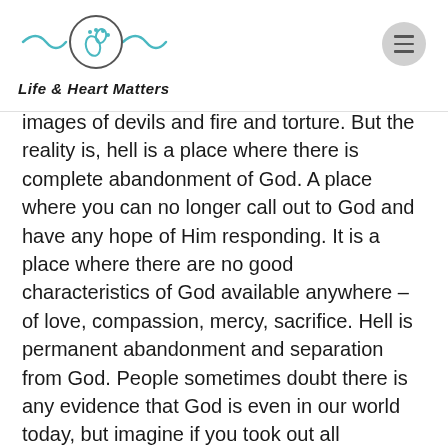Life & Heart Matters
images of devils and fire and torture.  But the reality is, hell is a place where there is complete abandonment of God.  A place where you can no longer call out to God and have any hope of Him responding. It is a place where there are no good characteristics of God available anywhere – of love, compassion, mercy, sacrifice.  Hell is permanent abandonment and separation from God. People sometimes doubt there is any evidence that God is even in our world today, but imagine if you took out all references to God and love and good in our world, what would be the effects then?  Complete lawlessness and chaos and evil without any hope of goodness or love.  And definitely no self-sacrifice.